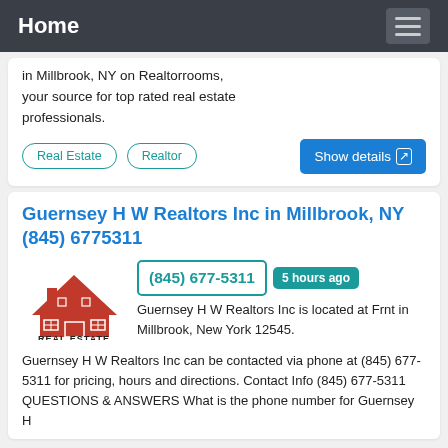Home
in Millbrook, NY on Realtorrooms, your source for top rated real estate professionals.
Real Estate
Realtor
Show details
Guernsey H W Realtors Inc in Millbrook, NY (845) 6775311
(845) 677-5311
5 hours ago
Guernsey H W Realtors Inc is located at Frnt in Millbrook, New York 12545.
Guernsey H W Realtors Inc can be contacted via phone at (845) 677-5311 for pricing, hours and directions. Contact Info (845) 677-5311 QUESTIONS & ANSWERS What is the phone number for Guernsey H